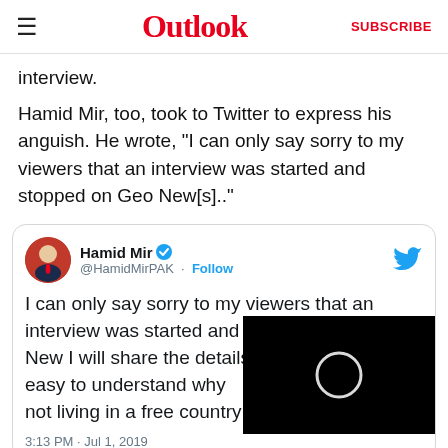Outlook | SUBSCRIBE
interview.
Hamid Mir, too, took to Twitter to express his anguish. He wrote, "I can only say sorry to my viewers that an interview was started and stopped on Geo New[s].."
[Figure (screenshot): Embedded tweet from @HamidMirPAK (Hamid Mir, verified) dated 3:13 PM · Jul 1, 2019, reading: 'I can only say sorry to my viewers that an interview was started and stopped on Geo New I will share the de[tails] easy to understand wh[y] not living in a free coun[try]' — partially obscured by a black video overlay showing a circular loading spinner.]